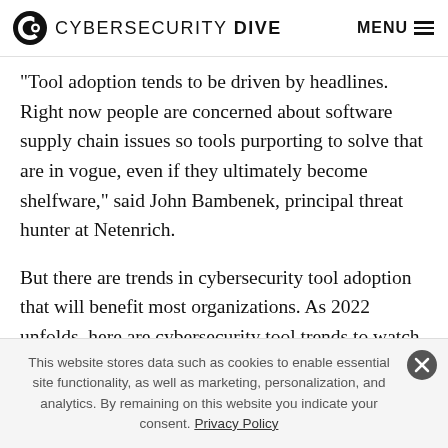CYBERSECURITY DIVE   MENU
“Tool adoption tends to be driven by headlines. Right now people are concerned about software supply chain issues so tools purporting to solve that are in vogue, even if they ultimately become shelfware,” said John Bambenek, principal threat hunter at Netenrich.
But there are trends in cybersecurity tool adoption that will benefit most organizations. As 2022 unfolds, here are cybersecurity tool trends to watch.
This website stores data such as cookies to enable essential site functionality, as well as marketing, personalization, and analytics. By remaining on this website you indicate your consent. Privacy Policy